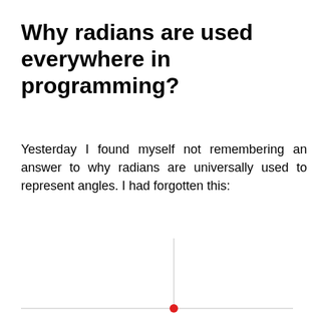Why radians are used everywhere in programming?
Yesterday I found myself not remembering an answer to why radians are universally used to represent angles. I had forgotten this:
[Figure (other): Partial coordinate axis diagram showing a vertical gray line and horizontal gray line meeting at a red dot point, representing the beginning of a mathematical figure about radians.]